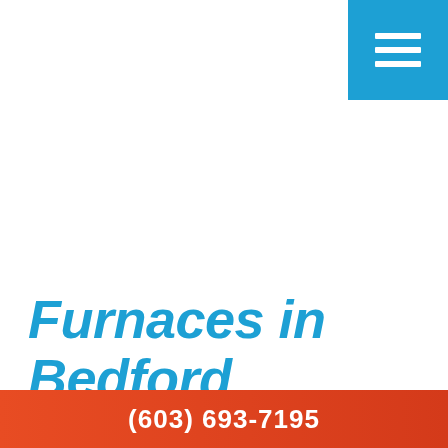[Figure (other): Blue square menu/hamburger button icon in upper right corner with three white horizontal lines]
Furnaces in Bedford
Coastal Mechanical is Bedford's leading specialist in furnace installation, repair and inspection. We have
(603) 693-7195